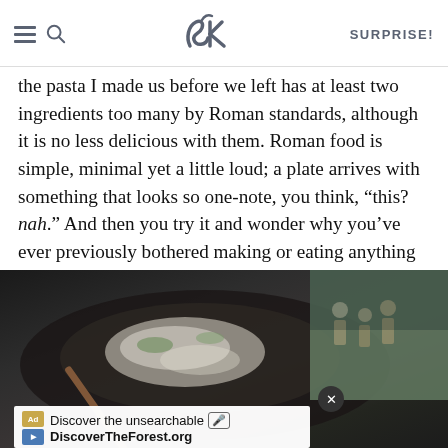SK SURPRISE!
the pasta I made us before we left has at least two ingredients too many by Roman standards, although it is no less delicious with them. Roman food is simple, minimal yet a little loud; a plate arrives with something that looks so one-note, you think, “this? nah.” And then you try it and wonder why you’ve ever previously bothered making or eating anything so complicated. This, too, is a principle I’m eager to reabsorb, and I’m pretty stoked that I have 16, or 23, if you give gelato its respect due, meals left to still do this.
[Figure (photo): Dark bowl with rice or risotto dish and chopstick, food photography. Below is an advertisement banner for DiscoverTheForest.org reading 'Discover the unsearchable'. A separate panel shows people hiking in a forest.]